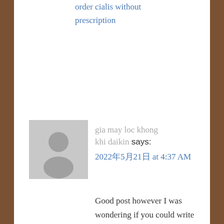order cialis without prescription
gia may loc khong khi daikin says:
2022年5月21日 at 4:37 AM
Good post however I was wondering if you could write alitte more on this topic? I'd be very grateful if you could elaboratea little bit more. Thanks!